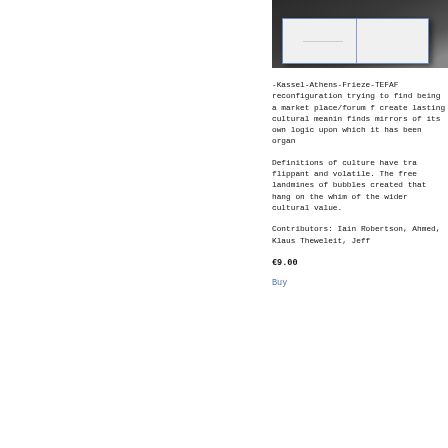[Figure (photo): Photo of an open book/publication on a dark background]
-Kassel-Athens-Frieze-TEFAR reconfiguration trying to find being a market place/forum f create lasting cultural meanin finds mirrors of its own logic upon which it has been organ
Definitions of culture have tra flippant and volatile. The free landmines of bubbles created that hang on the whim of the wider cultural value.
Contributors: Iain Robertson, Ahmed, Klaus Theweleit, Jeff
€9.00
Buy